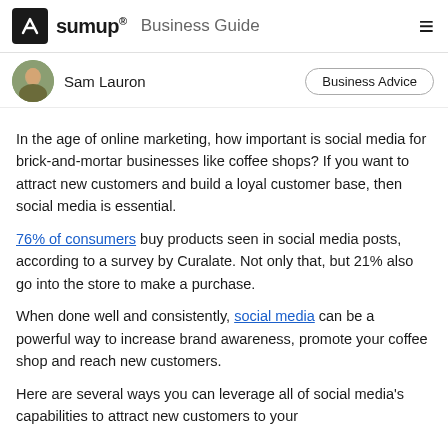sumup® Business Guide
Sam Lauron   Business Advice
In the age of online marketing, how important is social media for brick-and-mortar businesses like coffee shops? If you want to attract new customers and build a loyal customer base, then social media is essential.
76% of consumers buy products seen in social media posts, according to a survey by Curalate. Not only that, but 21% also go into the store to make a purchase.
When done well and consistently, social media can be a powerful way to increase brand awareness, promote your coffee shop and reach new customers.
Here are several ways you can leverage all of social media's capabilities to attract new customers to your